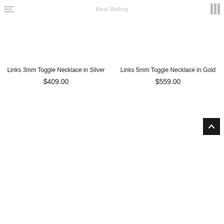Best Selling
Links 3mm Toggle Necklace in Silver
$409.00
Links 5mm Toggle Necklace in Gold
$559.00